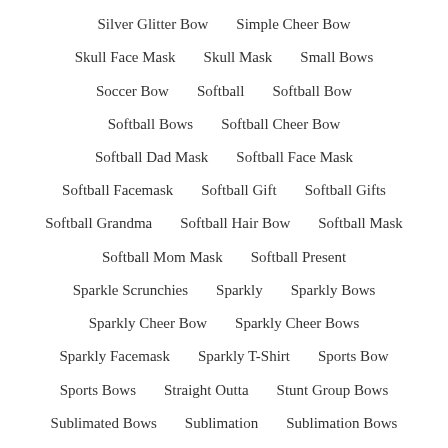Silver Glitter Bow    Simple Cheer Bow
Skull Face Mask    Skull Mask    Small Bows
Soccer Bow    Softball    Softball Bow
Softball Bows    Softball Cheer Bow
Softball Dad Mask    Softball Face Mask
Softball Facemask    Softball Gift    Softball Gifts
Softball Grandma    Softball Hair Bow    Softball Mask
Softball Mom Mask    Softball Present
Sparkle Scrunchies    Sparkly    Sparkly Bows
Sparkly Cheer Bow    Sparkly Cheer Bows
Sparkly Facemask    Sparkly T-Shirt    Sports Bow
Sports Bows    Straight Outta    Stunt Group Bows
Sublimated Bows    Sublimation    Sublimation Bows